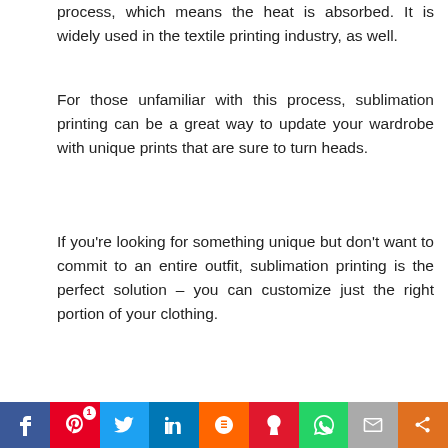process, which means the heat is absorbed. It is widely used in the textile printing industry, as well.
For those unfamiliar with this process, sublimation printing can be a great way to update your wardrobe with unique prints that are sure to turn heads.
If you're looking for something unique but don't want to commit to an entire outfit, sublimation printing is the perfect solution – you can customize just the right portion of your clothing.
[Figure (photo): Three sublimation-printed garments side by side: left shows a Roma cityscape shirt with golden text, center shows a blue Italia shirt with shield badge, right shows a green Celtic-style shirt.]
Social sharing bar with buttons: Facebook, Pinterest (1 share), Twitter, LinkedIn, Mix, Yummly, WhatsApp, Email, Share